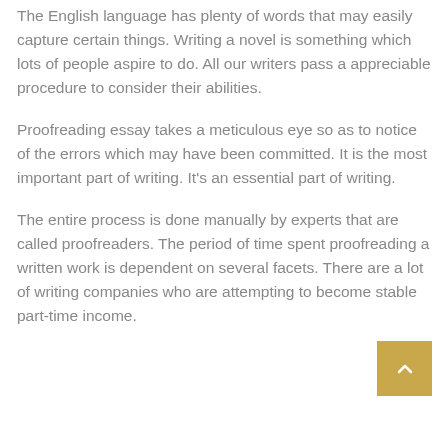The English language has plenty of words that may easily capture certain things. Writing a novel is something which lots of people aspire to do. All our writers pass a appreciable procedure to consider their abilities.
Proofreading essay takes a meticulous eye so as to notice of the errors which may have been committed. It is the most important part of writing. It's an essential part of writing.
The entire process is done manually by experts that are called proofreaders. The period of time spent proofreading a written work is dependent on several facets. There are a lot of writing companies who are attempting to become stable part-time income.